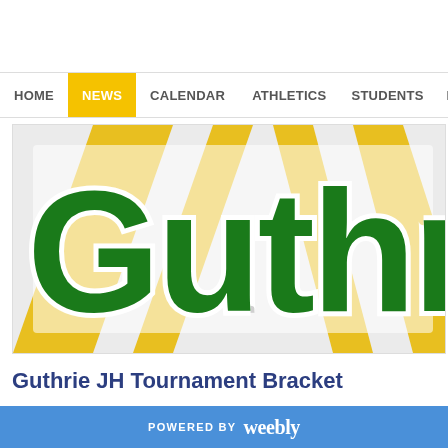HOME  NEWS  CALENDAR  ATHLETICS  STUDENTS  PARENTS
[Figure (logo): Guthrie school banner logo with large green text 'Guthri' on yellow and white diagonal stripe background]
Guthrie JH Tournament Bracket
POWERED BY weebly